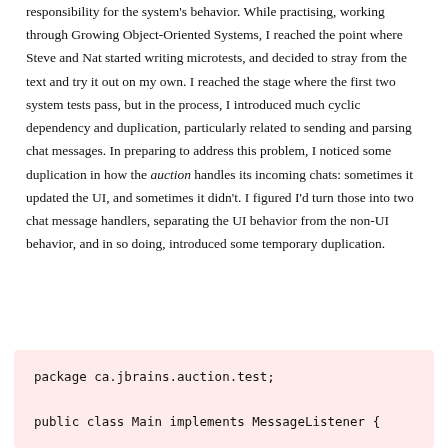responsibility for the system's behavior. While practising, working through Growing Object-Oriented Systems, I reached the point where Steve and Nat started writing microtests, and decided to stray from the text and try it out on my own. I reached the stage where the first two system tests pass, but in the process, I introduced much cyclic dependency and duplication, particularly related to sending and parsing chat messages. In preparing to address this problem, I noticed some duplication in how the auction handles its incoming chats: sometimes it updated the UI, and sometimes it didn't. I figured I'd turn those into two chat message handlers, separating the UI behavior from the non-UI behavior, and in so doing, introduced some temporary duplication.
[Figure (screenshot): Code block with pink background showing Java package declaration and class definition: 'package ca.jbrains.auction.test;' and 'public class Main implements MessageListener {']